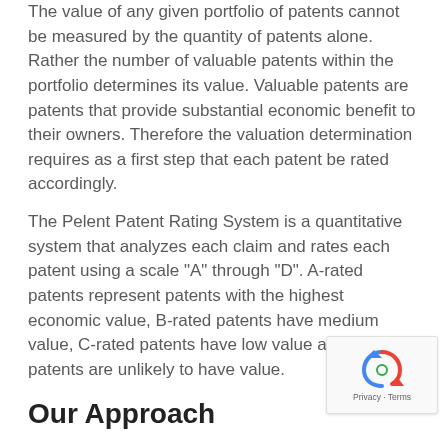The value of any given portfolio of patents cannot be measured by the quantity of patents alone. Rather the number of valuable patents within the portfolio determines its value. Valuable patents are patents that provide substantial economic benefit to their owners. Therefore the valuation determination requires as a first step that each patent be rated accordingly.
The Pelent Patent Rating System is a quantitative system that analyzes each claim and rates each patent using a scale "A" through "D". A-rated patents represent patents with the highest economic value, B-rated patents have medium value, C-rated patents have low value and D-rated patents are unlikely to have value.
Our Approach